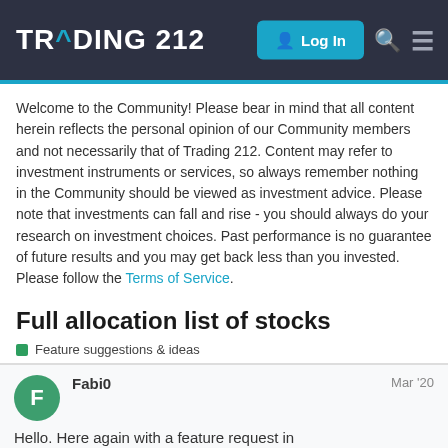TRADING 212 | Log In
Welcome to the Community! Please bear in mind that all content herein reflects the personal opinion of our Community members and not necessarily that of Trading 212. Content may refer to investment instruments or services, so always remember nothing in the Community should be viewed as investment advice. Please note that investments can fall and rise - you should always do your research on investment choices. Past performance is no guarantee of future results and you may get back less than you invested. Please follow the Terms of Service.
Full allocation list of stocks
Feature suggestions & ideas
Fabi0
Mar '20
Hello. Here again with a feature request in...